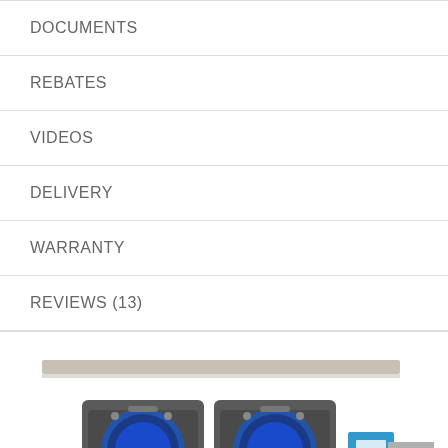DOCUMENTS
REBATES
VIDEOS
DELIVERY
WARRANTY
REVIEWS (13)
[Figure (photo): Two front-loading washing machines/dryers side by side on a shelf with a blue detergent box, product promotional image]